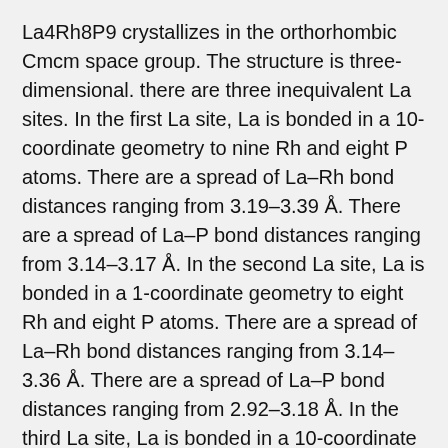La4Rh8P9 crystallizes in the orthorhombic Cmcm space group. The structure is three-dimensional. there are three inequivalent La sites. In the first La site, La is bonded in a 10-coordinate geometry to nine Rh and eight P atoms. There are a spread of La–Rh bond distances ranging from 3.19–3.39 Å. There are a spread of La–P bond distances ranging from 3.14–3.17 Å. In the second La site, La is bonded in a 1-coordinate geometry to eight Rh and eight P atoms. There are a spread of La–Rh bond distances ranging from 3.14–3.36 Å. There are a spread of La–P bond distances ranging from 2.92–3.18 Å. In the third La site, La is bonded in a 10-coordinate geometry to nine Rh and twelve P atoms. There are a spread of La–Rh bond distances ranging from 3.22–3.75 Å. There are a spread of La–P bond distances ranging from 3.22–3.80 Å. There are five inequivalent Rh sites. In the first Rh site, Rh is bonded in a 4-coordinate geometry to four La and four P atoms.